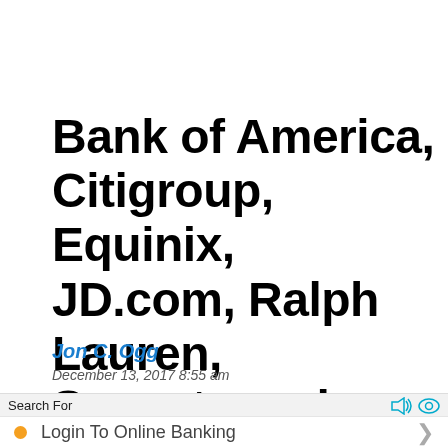Bank of America, Citigroup, Equinix, JD.com, Ralph Lauren, Sensata and More
Jon C. Ogg
December 13, 2017 8:55 am
Search For
Login To Online Banking
Check Your Account Online